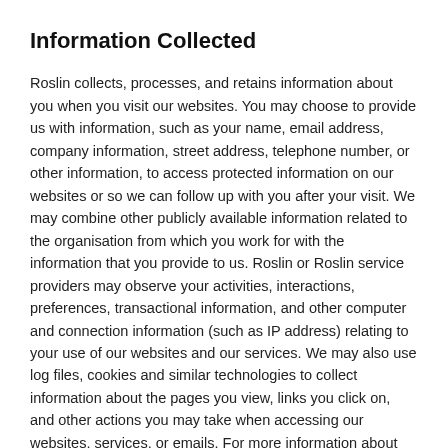Information Collected
Roslin collects, processes, and retains information about you when you visit our websites. You may choose to provide us with information, such as your name, email address, company information, street address, telephone number, or other information, to access protected information on our websites or so we can follow up with you after your visit. We may combine other publicly available information related to the organisation from which you work for with the information that you provide to us. Roslin or Roslin service providers may observe your activities, interactions, preferences, transactional information, and other computer and connection information (such as IP address) relating to your use of our websites and our services. We may also use log files, cookies and similar technologies to collect information about the pages you view, links you click on, and other actions you may take when accessing our websites, services, or emails. For more information about our use of these technologies and how to control them, see our Cookies and